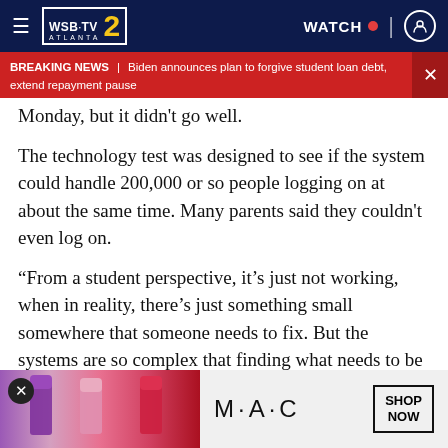[Figure (screenshot): WSB-TV Atlanta Channel 2 news website header with navigation bar showing hamburger menu, WSB-TV 2 Atlanta logo, WATCH live button with red dot, and user account icon]
BREAKING NEWS | Biden announces plan to forgive student loan debt, extend repayment pause
Monday, but it didn't go well.
The technology test was designed to see if the system could handle 200,000 or so people logging on at about the same time. Many parents said they couldn't even log on.
“From a student perspective, it’s just not working, when in reality, there’s just something small somewhere that someone needs to fix. But the systems are so complex that finding what needs to be fixed and figuring out which of these various different companies and other enterprises need to go in
[Figure (photo): MAC cosmetics advertisement showing lipsticks in purple, pink, and red colors with MAC logo and SHOP NOW button]